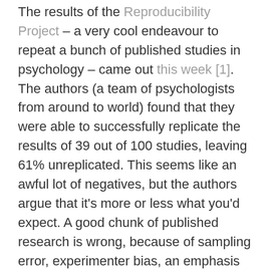The results of the Reproducibility Project – a very cool endeavour to repeat a bunch of published studies in psychology – came out this week [1]. The authors (a team of psychologists from around to world) found that they were able to successfully replicate the results of 39 out of 100 studies, leaving 61% unreplicated. This seems like an awful lot of negatives, but the authors argue that it's more or less what you'd expect. A good chunk of published research is wrong, because of sampling error, experimenter bias, an emphasis on publishing surprising findings that turn out to be false, or more than one of the above. No one study can ever represent the truth – nor is it intended to. The idea is that with time and collective effort, scientific knowledge progresses towards certainty.